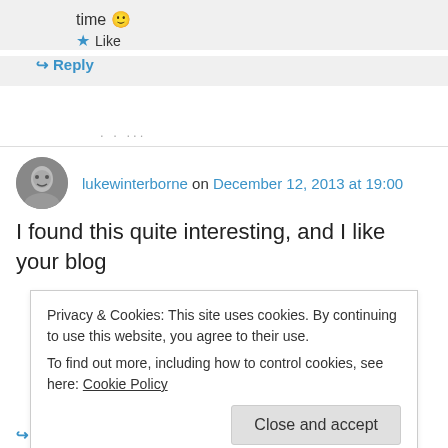time 😊
★ Like
↪ Reply
. . . ...
lukewinterborne on December 12, 2013 at 19:00
I found this quite interesting, and I like your blog
Privacy & Cookies: This site uses cookies. By continuing to use this website, you agree to their use.
To find out more, including how to control cookies, see here: Cookie Policy
Close and accept
↪ Reply